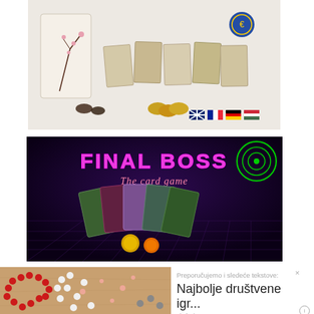[Figure (photo): Board game components laid out on a white background, including a box, cards, coins, and language flag icons (English, French, German, Hungarian)]
[Figure (photo): Final Boss: The Card Game promotional image with neon text on dark purple background showing game cards and tokens]
[Figure (photo): Heart-shaped arrangement of red and white meeple game pieces on a wooden surface]
Preporučujemo i sledeće tekstove:
Najbolje društvene igr...
pitchwise.net